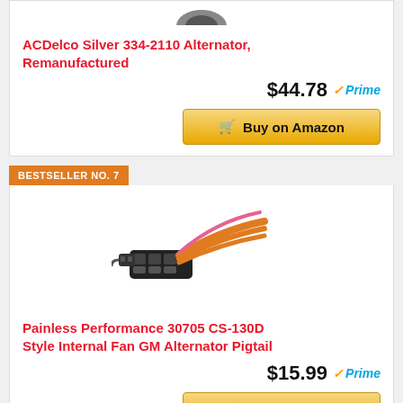[Figure (photo): Partial product image at top of page (alternator, cropped)]
ACDelco Silver 334-2110 Alternator, Remanufactured
$44.78 Prime
Buy on Amazon
BESTSELLER NO. 7
[Figure (photo): Painless Performance 30705 CS-130D Style Internal Fan GM Alternator Pigtail connector with orange wires]
Painless Performance 30705 CS-130D Style Internal Fan GM Alternator Pigtail
$15.99 Prime
Buy on Amazon